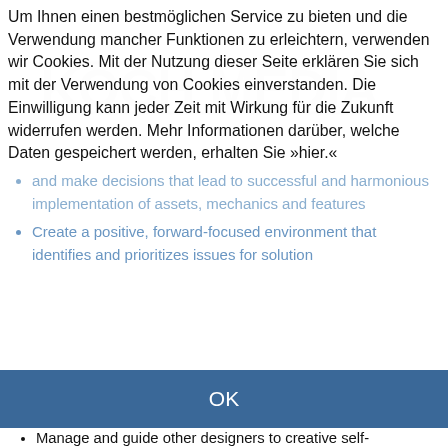Um Ihnen einen bestmöglichen Service zu bieten und die Verwendung mancher Funktionen zu erleichtern, verwenden wir Cookies. Mit der Nutzung dieser Seite erklären Sie sich mit der Verwendung von Cookies einverstanden. Die Einwilligung kann jeder Zeit mit Wirkung für die Zukunft widerrufen werden. Mehr Informationen darüber, welche Daten gespeichert werden, erhalten Sie »hier.«
[Figure (logo): Koch Media logo watermark in light grey]
and make decisions that lead to successful and harmonious implementation of assets, mechanics and features
Create a positive, forward-focused environment that identifies and prioritizes issues for solution
OK
Manage and guide other designers to creative self-expression resulting in their professional and personal growth
Lead by example and be willing to be hands on when team needs it
Create a learning environment in which the game design team members can evolve and share best practices